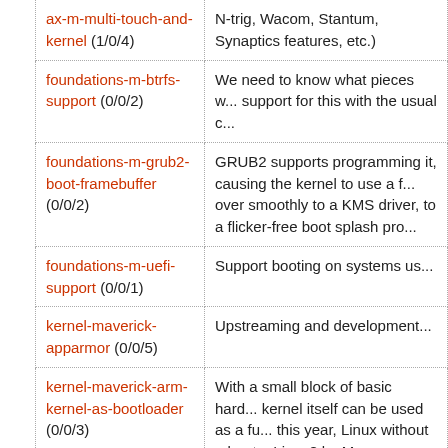| Blueprint | Description |
| --- | --- |
| ax-m-multi-touch-and-kernel (1/0/4) | N-trig, Wacom, Stantum, Synaptics features, etc.) |
| foundations-m-btrfs-support (0/0/2) | We need to know what pieces w... support for this with the usual c... |
| foundations-m-grub2-boot-framebuffer (0/0/2) | GRUB2 supports programming it, causing the kernel to use a f... over smoothly to a KMS driver, to a flicker-free boot splash pro... |
| foundations-m-uefi-support (0/0/1) | Support booting on systems us... |
| kernel-maverick-apparmor (0/0/5) | Upstreaming and development... |
| kernel-maverick-arm-kernel-as-bootloader (0/0/3) | With a small block of basic hard... kernel itself can be used as a fu... this year, Linux without a boot... Linux? by Magnus Damm. |
| kernel-maverick-arm-single-zimage (1/0/8) | Needs a specification. |
| kernel-maverick-bios-test-automation (1/0/12) | It is desirable to be able autom... suspend/resume, hibernate, wa... be able to fix or workaround BI... into hibernate/suspend code pa... |